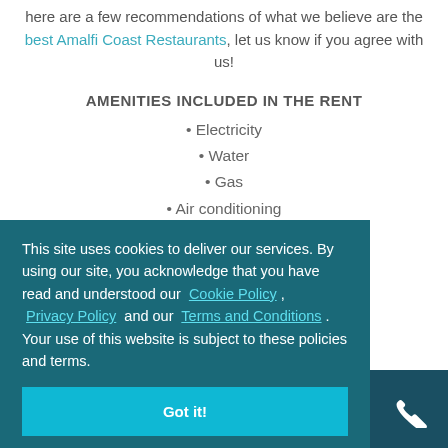here are a few recommendations of what we believe are the best Amalfi Coast Restaurants, let us know if you agree with us!
AMENITIES INCLUDED IN THE RENT
• Electricity
• Water
• Gas
• Air conditioning
• Final cleaning
• Housekeeping two hours twice a week
• Midweek bath linen change
• Alfresco dining
This site uses cookies to deliver our services. By using our site, you acknowledge that you have read and understood our Cookie Policy , Privacy Policy and our Terms and Conditions . Your use of this website is subject to these policies and terms.
Got it!